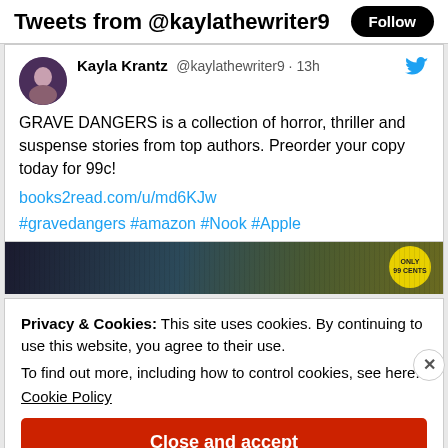Tweets from @kaylathewriter9
Kayla Krantz @kaylathewriter9 · 13h
GRAVE DANGERS is a collection of horror, thriller and suspense stories from top authors. Preorder your copy today for 99c!

books2read.com/u/md6KJw

#gravedangers #amazon #Nook #Apple
[Figure (photo): Book cover image with dark trees and a yellow badge reading ONLY 99 CENTS]
Privacy & Cookies: This site uses cookies. By continuing to use this website, you agree to their use.
To find out more, including how to control cookies, see here:
Cookie Policy
Close and accept